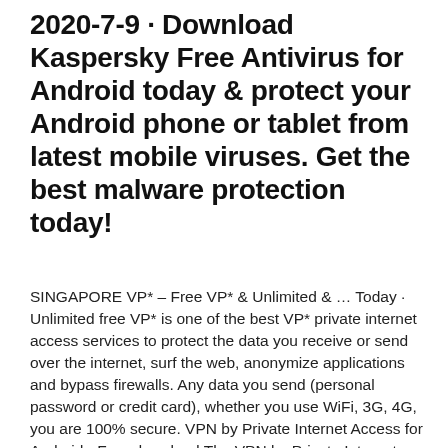2020-7-9 · Download Kaspersky Free Antivirus for Android today & protect your Android phone or tablet from latest mobile viruses. Get the best malware protection today!
SINGAPORE VP* – Free VP* & Unlimited & … Today · Unlimited free VP* is one of the best VP* private internet access services to protect the data you receive or send over the internet, surf the web, anonymize applications and bypass firewalls. Any data you send (personal password or credit card), whether you use WiFi, 3G, 4G, you are 100% secure. VPN by Private Internet Access for Android - Free download The VPN by Private Internet Access is an easy way to secure and keep your Internet traffic private. And Private Internet Access, or PIA, offers a useful collection of security settings to